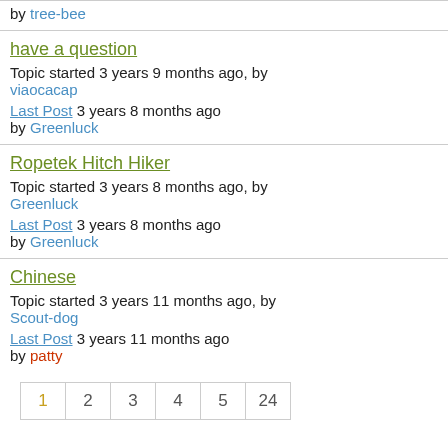by tree-bee
have a question
Topic started 3 years 9 months ago, by viaocacap
Last Post 3 years 8 months ago
by Greenluck
Ropetek Hitch Hiker
Topic started 3 years 8 months ago, by Greenluck
Last Post 3 years 8 months ago
by Greenluck
Chinese
Topic started 3 years 11 months ago, by Scout-dog
Last Post 3 years 11 months ago
by patty
1 2 3 4 5 24